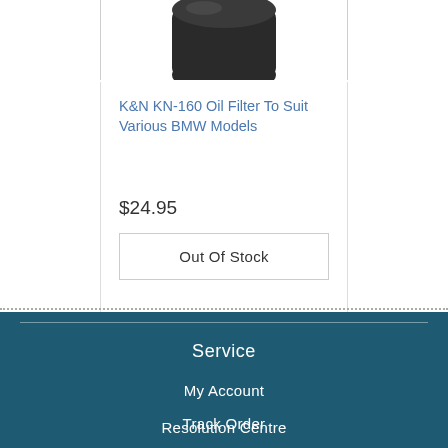[Figure (photo): K&N KN-160 oil filter product image shown partially at top of card, black cylindrical filter object on white background]
K&N KN-160 Oil Filter To Suit Various BMW Models
$24.95
Out Of Stock
Service
My Account
Track Order
Resolution Centre